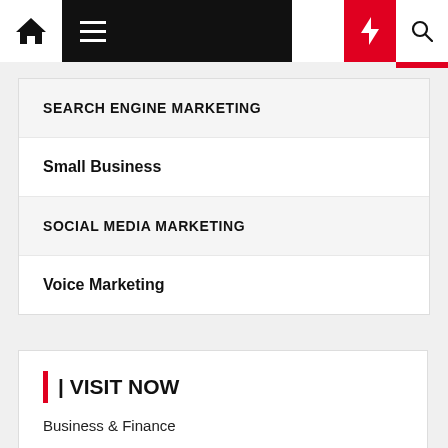Navigation bar with home, menu, moon, bolt, and search icons
SEARCH ENGINE MARKETING
Small Business
SOCIAL MEDIA MARKETING
Voice Marketing
| | VISIT NOW
Business & Finance